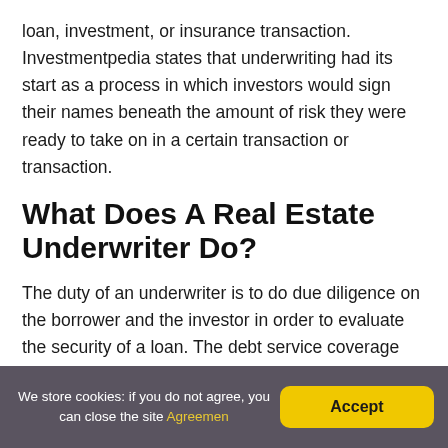loan, investment, or insurance transaction. Investmentpedia states that underwriting had its start as a process in which investors would sign their names beneath the amount of risk they were ready to take on in a certain transaction or transaction.
What Does A Real Estate Underwriter Do?
The duty of an underwriter is to do due diligence on the borrower and the investor in order to evaluate the security of a loan. The debt service coverage ratio will
We store cookies: if you do not agree, you can close the site Agreemen